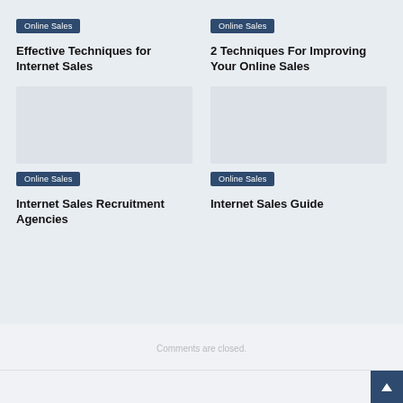Online Sales
Effective Techniques for Internet Sales
Online Sales
2 Techniques For Improving Your Online Sales
[Figure (photo): Placeholder image for Internet Sales Recruitment Agencies article]
Online Sales
Internet Sales Recruitment Agencies
[Figure (photo): Placeholder image for Internet Sales Guide article]
Online Sales
Internet Sales Guide
Comments are closed.